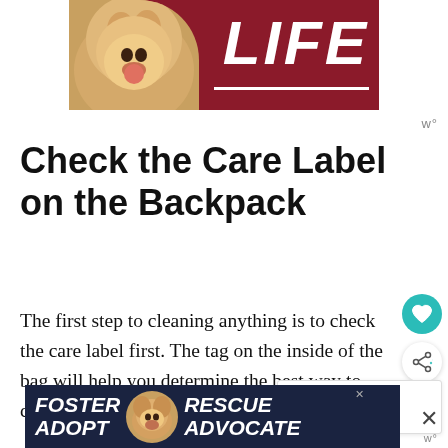[Figure (illustration): Advertisement banner with a golden/yellow dog and the word LIFE in white italic bold text on a dark red/maroon background with a white underline]
Check the Care Label on the Backpack
The first step to cleaning anything is to check the care label first. The tag on the inside of the bag will help you determine the best way to clean the backpack.
[Figure (illustration): What's Next widget showing 'Washing a Wool Blanke...' with thumbnail and orange arrow]
[Figure (illustration): Advertisement banner at bottom with text FOSTER ADOPT and RESCUE ADVOCATE with a beagle dog on dark navy background]